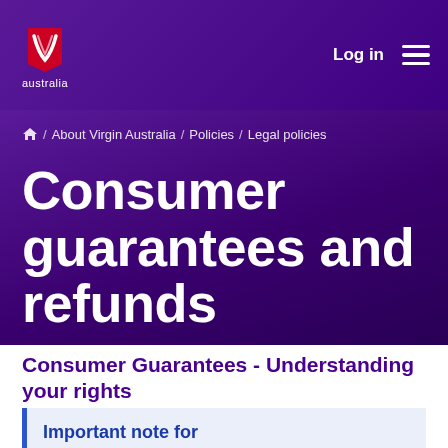Virgin Australia | Log in
Home / About Virgin Australia / Policies / Legal policies
Consumer guarantees and refunds
Consumer Guarantees - Understanding your rights
Important note for